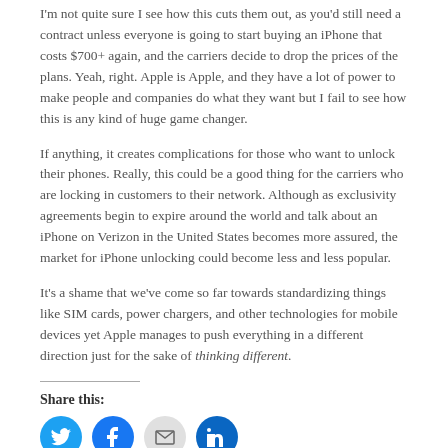I'm not quite sure I see how this cuts them out, as you'd still need a contract unless everyone is going to start buying an iPhone that costs $700+ again, and the carriers decide to drop the prices of the plans. Yeah, right. Apple is Apple, and they have a lot of power to make people and companies do what they want but I fail to see how this is any kind of huge game changer.
If anything, it creates complications for those who want to unlock their phones. Really, this could be a good thing for the carriers who are locking in customers to their network. Although as exclusivity agreements begin to expire around the world and talk about an iPhone on Verizon in the United States becomes more assured, the market for iPhone unlocking could become less and less popular.
It's a shame that we've come so far towards standardizing things like SIM cards, power chargers, and other technologies for mobile devices yet Apple manages to push everything in a different direction just for the sake of thinking different.
Share this:
[Figure (infographic): Four social share buttons: Twitter (blue), Facebook (blue), Email (gray), LinkedIn (dark blue)]